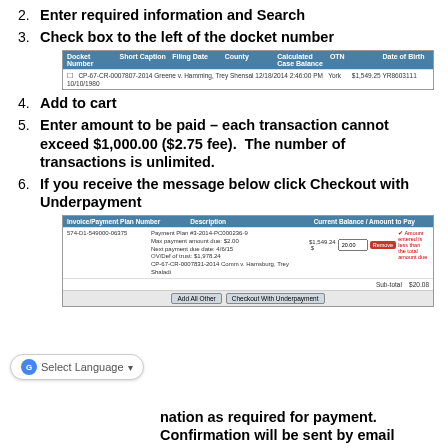2. Enter required information and Search
3. Check box to the left of the docket number
[Figure (screenshot): Screenshot of a court docket search results table showing columns: Docket Number, Short Caption, Filing Date, County, Calculated Case Balance, OTN, Date of Birth. One row shown: CP-67-CR-0007807-2014, Greene v. Hamming Trey Shensal, 12/18/2014 2:46:00 PM, York, $1,549.25, YR8603111, 10/10/1980]
4. Add to cart
5. Enter amount to be paid – each transaction cannot exceed $1,000.00 ($2.75 fee).  The number of transactions is unlimited.
6. If you receive the message below click Checkout with Underpayment
[Figure (screenshot): Screenshot of a payment cart showing Invoice/Payment Plan Number 574-D1-549000-06375, description with payment plan details, current balance $1,549.24, amount entered $20.00, error message 'Amount entered is less than the total amount due', subtotal $20.08, buttons: Add All Other, Checkout With Underpayment]
nation as required for payment. Confirmation will be sent by email